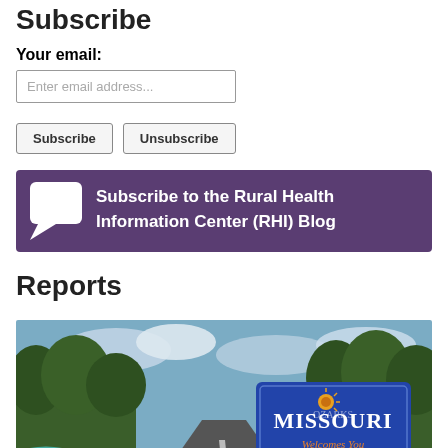Subscribe
Your email:
[Figure (screenshot): Email input field with placeholder text 'Enter email address...']
Subscribe   Unsubscribe
[Figure (infographic): Purple banner with chat bubble icon and text: Subscribe to the Rural Health Information Center (RHI) Blog]
Reports
[Figure (photo): Photo of a rural road with a blue Missouri Welcomes You road sign in a green landscape, with a partial circular graphic overlay in the bottom left.]